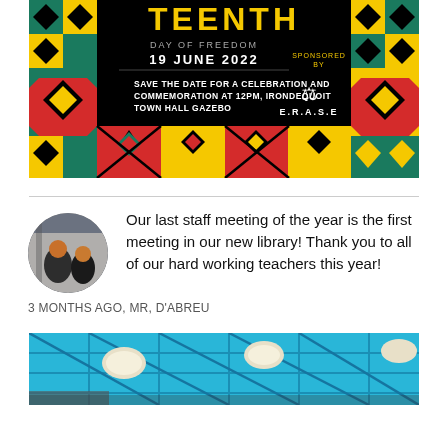[Figure (illustration): Juneteenth Day of Freedom poster with colorful African geometric patterns, text reading TEENTH, DAY OF FREEDOM, 19 JUNE 2022, SAVE THE DATE FOR A CELEBRATION AND COMMEMORATION AT 12PM, IRONDEQUOIT TOWN HALL GAZEBO, SPONSORED BY E.R.A.S.E]
Our last staff meeting of the year is the first meeting in our new library! Thank you to all of our hard working teachers this year!
3 MONTHS AGO, MR, D'ABREU
[Figure (photo): Partial photo of a library interior with blue ceiling panels and round light fixtures]